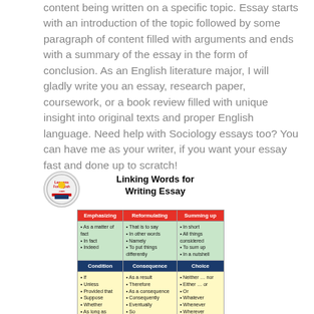content being written on a specific topic. Essay starts with an introduction of the topic followed by some paragraph of content filled with arguments and ends with a summary of the essay in the form of conclusion. As an English literature major, I will gladly write you an essay, research paper, coursework, or a book review filled with unique insight into original texts and proper English language. Need help with Sociology essays too? You can have me as your writer, if you want your essay fast and done up to scratch!
[Figure (table-as-image): Linking Words for Writing Essay — a color-coded reference table showing categories: Emphasizing, Reformulating, Summing up, Condition, Consequence, Choice, Concession, Adding Ideas, Explaining Cause with example linking words in each category.]